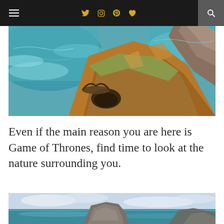Navigation bar with hamburger menu, social icons (Twitter, Instagram, Pinterest, Heart), and search button
[Figure (photo): Aerial view of a coastal cliff with rocky arch and teal ocean waves, green and orange rocky headland with ruins]
Even if the main reason you are here is Game of Thrones, find time to look at the nature surrounding you.
[Figure (photo): Coastal seascape with large rock formation in teal water, cliffs in background under blue sky with clouds]